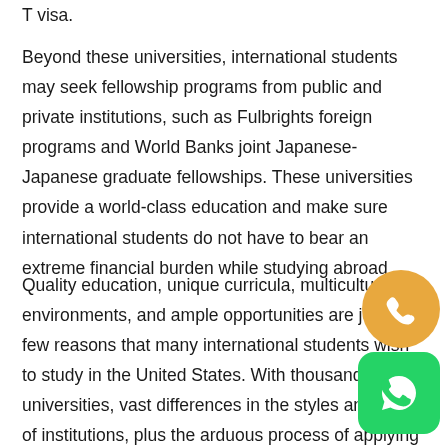T visa.
Beyond these universities, international students may seek fellowship programs from public and private institutions, such as Fulbrights foreign programs and World Banks joint Japanese-Japanese graduate fellowships. These universities provide a world-class education and make sure international students do not have to bear an extreme financial burden while studying abroad.
Quality education, unique curricula, multicultural environments, and ample opportunities are just a few reasons that many international students wish to study in the United States. With thousands of universities, vast differences in the styles and costs of institutions, plus the arduous process of applying to a university, many potential international students find the process of applying for study in the United States to be overwhelming. Students are aware of the common application process to enter...